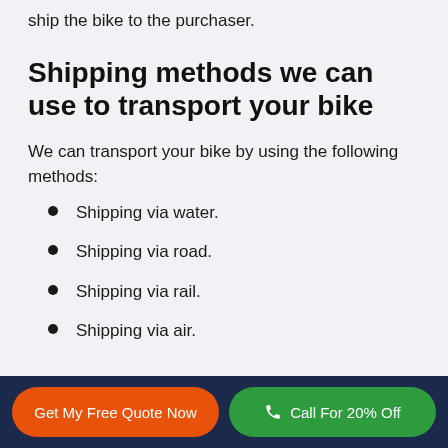ship the bike to the purchaser.
Shipping methods we can use to transport your bike
We can transport your bike by using the following methods:
Shipping via water.
Shipping via road.
Shipping via rail.
Shipping via air.
Get My Free Quote Now | Call For 20% Off